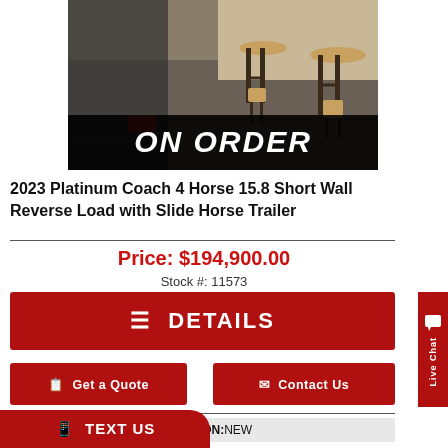[Figure (photo): Interior photo of a horse trailer or showroom with high-top bar tables and chairs, carpet flooring, with an 'ON ORDER' black banner overlay at the bottom of the image.]
2023 Platinum Coach 4 Horse 15.8 Short Wall Reverse Load with Slide Horse Trailer
Price: $194,900.00
Stock #: 11573
☰ DETAILS
Get a Quote
Contact Us
CONDITION: NEW
LOCATION: JARRELL, TX
R 420.00"
TEXT US
Live Chat